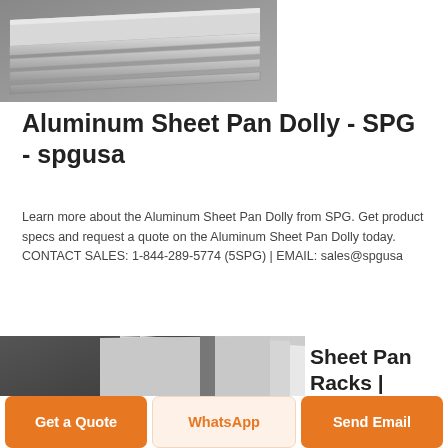[Figure (photo): Stack of aluminum sheet panels photographed from an angle, showing metallic silver surfaces on a grey background]
Aluminum Sheet Pan Dolly - SPG - spgusa
Learn more about the Aluminum Sheet Pan Dolly from SPG. Get product specs and request a quote on the Aluminum Sheet Pan Dolly today. CONTACT SALES: 1-844-289-5774 (5SPG) | EMAIL: sales@spgusa
[Figure (photo): Aluminum sheet panels including a dark grey/black sheet and light silver sheets fanned out]
Sheet Pan Racks |
Get a Quote
WhatsApp
Send Email